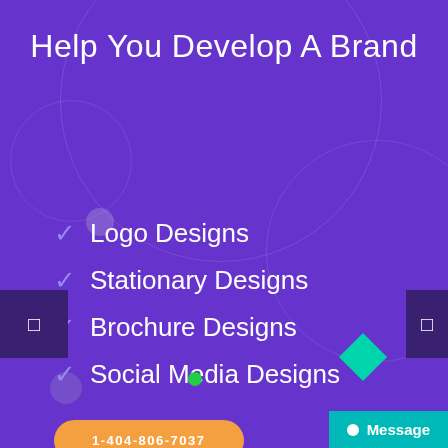Help You Develop A Brand
Logo Designs
Stationary Designs
Brochure Designs
Social Media Designs
1-404-806-7037
Message